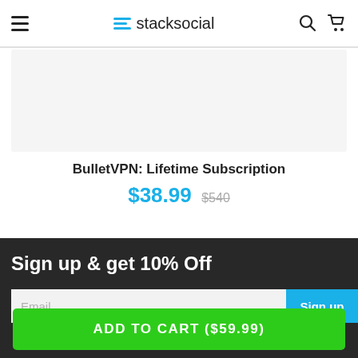stacksocial
[Figure (other): Product image placeholder area (light gray background)]
BulletVPN: Lifetime Subscription
$38.99  $540
Sign up & get 10% Off
Email  Sign up
ADD TO CART ($59.99)